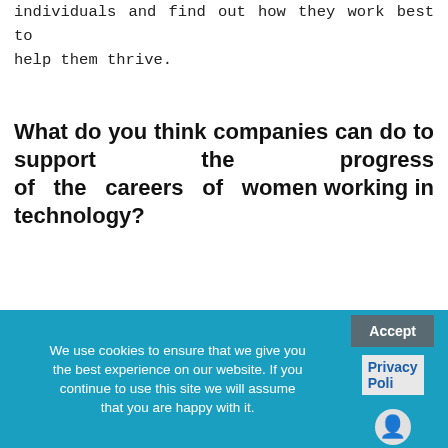individuals and find out how they work best to help them thrive.
What do you think companies can do to support the progress of the careers of women working in technology?
Getting more women in AI is a similar challenge to getting women in technical roles more generally. I think we need to create and foster interest early in education and then ease the way into tech companies themselves. Everyone in a position to recognize and encourage interest and talent should make a concerted
We use cookies to ensure that we give you the best experience on our website. If you continue to use this site we will assume that you are happy with it. Accept Privacy Poli